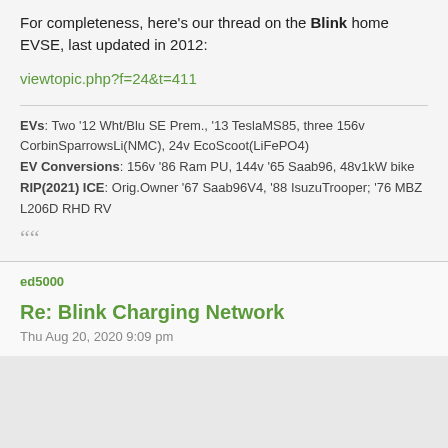For completeness, here's our thread on the Blink home EVSE, last updated in 2012:
viewtopic.php?f=24&t=411
EVs: Two '12 Wht/Blu SE Prem., '13 TeslaMS85, three 156v CorbinSparrowsLi(NMC), 24v EcoScoot(LiFePO4)
EV Conversions: 156v '86 Ram PU, 144v '65 Saab96, 48v1kW bike
RIP(2021) ICE: Orig.Owner '67 Saab96V4, '88 IsuzuTrooper; '76 MBZ L206D RHD RV
ed5000
Re: Blink Charging Network
Thu Aug 20, 2020 9:09 pm